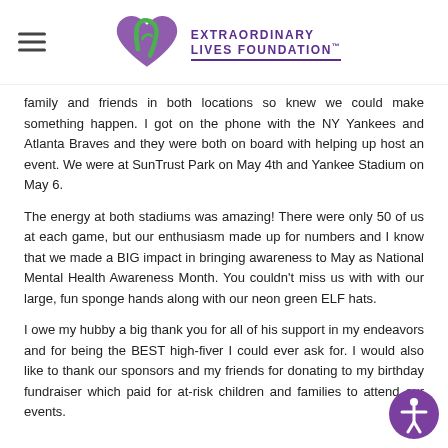Extraordinary Lives Foundation
family and friends in both locations so knew we could make something happen. I got on the phone with the NY Yankees and Atlanta Braves and they were both on board with helping up host an event. We were at SunTrust Park on May 4th and Yankee Stadium on May 6.
The energy at both stadiums was amazing! There were only 50 of us at each game, but our enthusiasm made up for numbers and I know that we made a BIG impact in bringing awareness to May as National Mental Health Awareness Month. You couldn't miss us with with our large, fun sponge hands along with our neon green ELF hats.
I owe my hubby a big thank you for all of his support in my endeavors and for being the BEST high-fiver I could ever ask for. I would also like to thank our sponsors and my friends for donating to my birthday fundraiser which paid for at-risk children and families to attend our events.